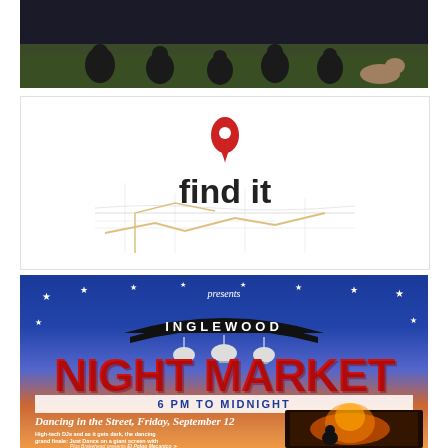[Figure (photo): Group photo of people and a dog on grass at night]
[Figure (logo): Find it logo with red map pin above the text 'find it' on a map background]
[Figure (illustration): Inglewood Night Market event poster with blue to orange gradient background, stars, INGLEWOOD banner, NIGHT MARKET text in red, 6 PM TO MIDNIGHT time banner, Dancing in the Street Friday September 12 text, event description text, and fire performer photo]